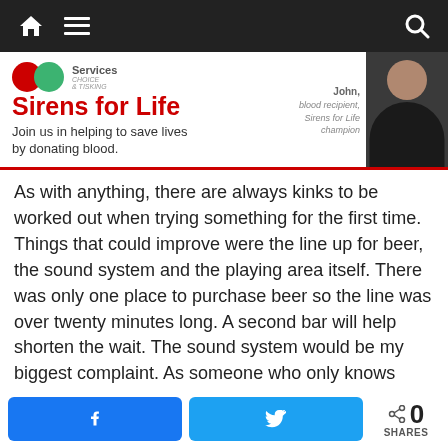Navigation bar with home, menu, and search icons
[Figure (infographic): Sirens for Life blood donation campaign banner with logo circles, tagline 'Join us in helping to save lives by donating blood.' and photo of John, blood recipient, Sirens for Life champion]
As with anything, there are always kinks to be worked out when trying something for the first time.  Things that could improve were the line up for beer, the sound system and the playing area itself.  There was only one place to purchase beer so the line was over twenty minutes long.  A second bar will help shorten the wait.  The sound system would be my biggest complaint.  As someone who only knows what Whip It taught me, I really needed to understand what the announcer was saying in
Facebook share button | Twitter share button | 0 SHARES